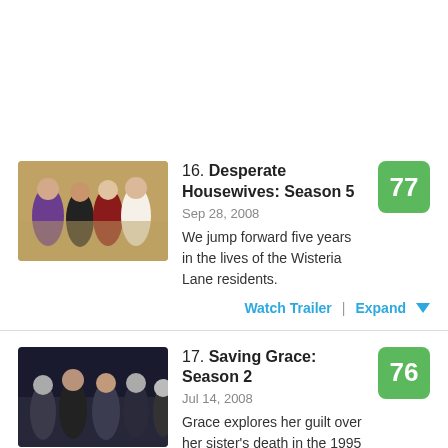16. Desperate Housewives: Season 5
Sep 28, 2008
We jump forward five years in the lives of the Wisteria Lane residents.
Score: 77
17. Saving Grace: Season 2
Jul 14, 2008
Grace explores her guilt over her sister's death in the 1995 Oklahoma City bombing in the second season.
Score: 76